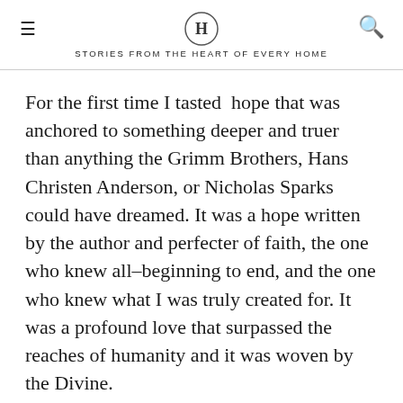H — STORIES FROM THE HEART OF EVERY HOME
For the first time I tasted  hope that was anchored to something deeper and truer than anything the Grimm Brothers, Hans Christen Anderson, or Nicholas Sparks could have dreamed. It was a hope written by the author and perfecter of faith, the one who knew all–beginning to end, and the one who knew what I was truly created for. It was a profound love that surpassed the reaches of humanity and it was woven by the Divine.
Years later, I am still amazed at the beautiful redemption He has ushered me into. I have seen dreams surpassed and yearn to see the light spread. I have seen my own life restored and have had the joy of seeing God use his true